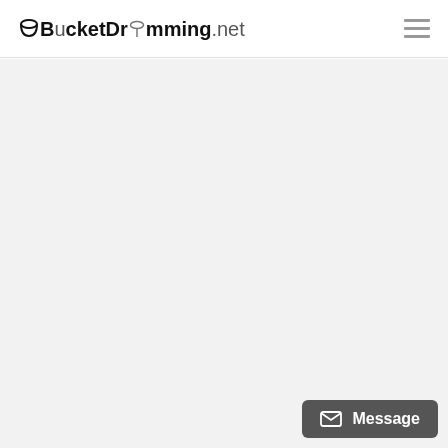BucketDrumming.net
[Figure (other): Large empty light gray content area filling the body below the header navigation]
Message